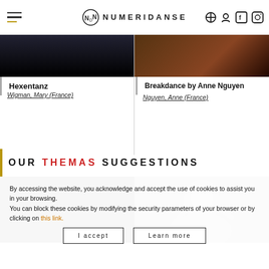NUMERIDANSE
Hexentanz
Wigman, Mary (France)
Breakdance by Anne Nguyen
Nguyen, Anne (France)
OUR THEMAS SUGGESTIONS
[Figure (photo): Dark dance performance image (left)]
[Figure (photo): Black and white dance performance image (right)]
By accessing the website, you acknowledge and accept the use of cookies to assist you in your browsing.
You can block these cookies by modifying the security parameters of your browser or by clicking on this link.
I accept
Learn more